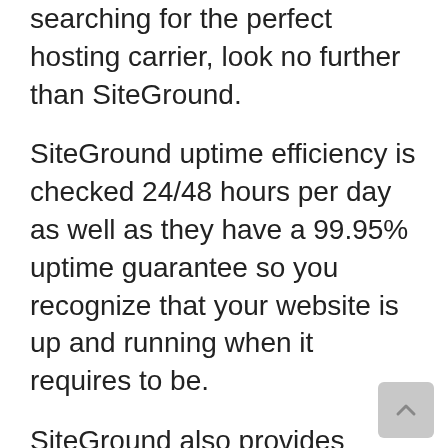searching for the perfect hosting carrier, look no further than SiteGround.
SiteGround uptime efficiency is checked 24/48 hours per day as well as they have a 99.95% uptime guarantee so you recognize that your website is up and running when it requires to be.
SiteGround also provides outstanding customer support with their well-informed staff, quick feedback time, as well as live conversation accessibility. SiteGround uses trustworthy hosting packages for all sorts of internet sites at a cost effective rate factor.